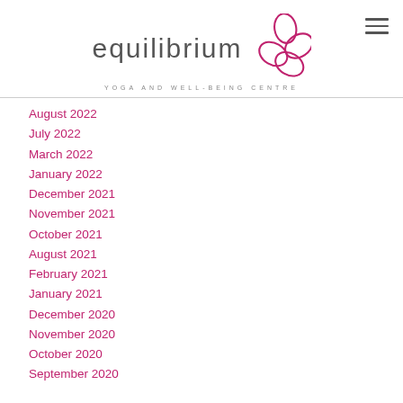[Figure (logo): Equilibrium Yoga and Well-Being Centre logo with flower illustration and text]
August 2022
July 2022
March 2022
January 2022
December 2021
November 2021
October 2021
August 2021
February 2021
January 2021
December 2020
November 2020
October 2020
September 2020